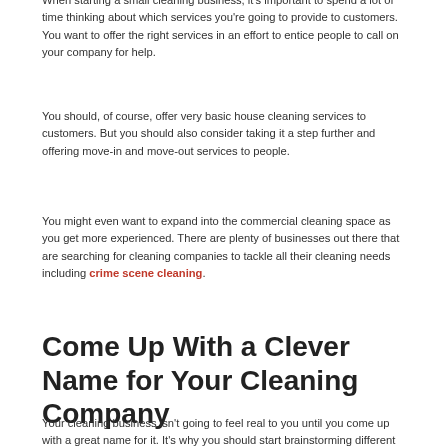When starting a small cleaning business, it's important to spend a lot of time thinking about which services you're going to provide to customers. You want to offer the right services in an effort to entice people to call on your company for help.
You should, of course, offer very basic house cleaning services to customers. But you should also consider taking it a step further and offering move-in and move-out services to people.
You might even want to expand into the commercial cleaning space as you get more experienced. There are plenty of businesses out there that are searching for cleaning companies to tackle all their cleaning needs including crime scene cleaning.
Come Up With a Clever Name for Your Cleaning Company
Your cleaning business isn't going to feel real to you until you come up with a great name for it. It's why you should start brainstorming different options from the moment you decide